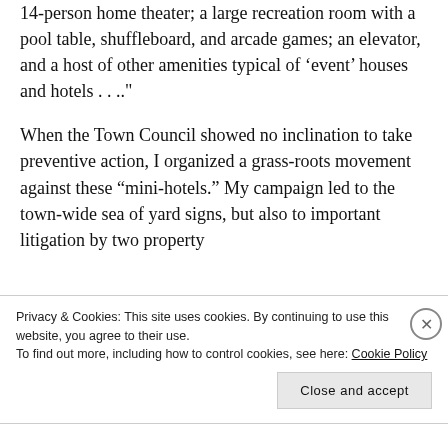14-person home theater; a large recreation room with a pool table, shuffleboard, and arcade games; an elevator, and a host of other amenities typical of 'event' houses and hotels . . .."
When the Town Council showed no inclination to take preventive action, I organized a grass-roots movement against these “mini-hotels.” My campaign led to the town-wide sea of yard signs, but also to important litigation by two property
Privacy & Cookies: This site uses cookies. By continuing to use this website, you agree to their use.
To find out more, including how to control cookies, see here: Cookie Policy